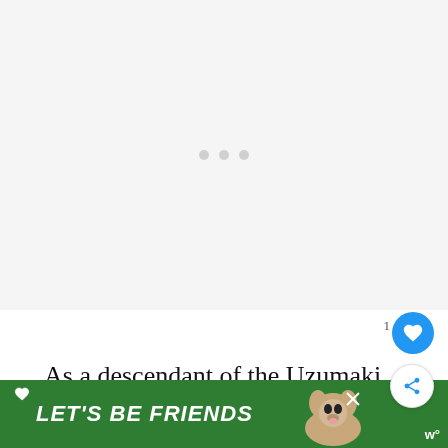[Figure (other): Image placeholder area with three gray dots indicating loading state]
As a descendant of the Uzumaki clan, he ha naturally resilient chakra and could perform se ay.
[Figure (other): Advertisement banner: LET'S BE FRIENDS with a dog image on green background]